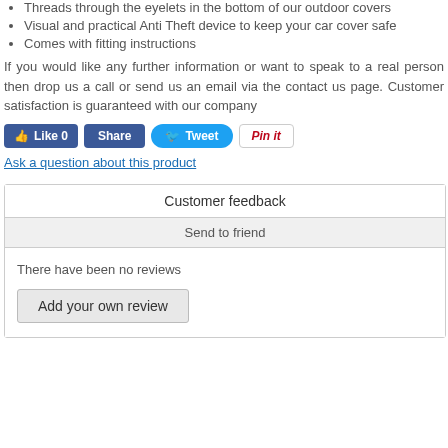Threads through the eyelets in the bottom of our outdoor covers
Visual and practical Anti Theft device to keep your car cover safe
Comes with fitting instructions
If you would like any further information or want to speak to a real person then drop us a call or send us an email via the contact us page. Customer satisfaction is guaranteed with our company
[Figure (screenshot): Social sharing buttons: Like 0 (Facebook), Share (Facebook), Tweet (Twitter), Pin it (Pinterest)]
Ask a question about this product
| Customer feedback |
| --- |
| Send to friend |
| There have been no reviews
Add your own review |